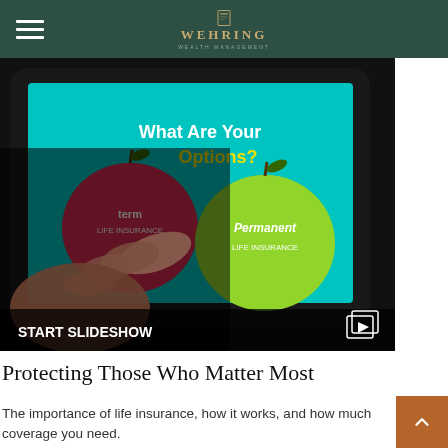WEHRING WEALTH MANAGEMENT
[Figure (photo): Person touching a tablet screen displaying a slideshow about life insurance options, showing two apples (red labeled 'term life insurance' and green labeled 'Permanent Life Insurance') with text 'What Are Your Options?' on a teal background. Bottom bar reads START SLIDESHOW with a slideshow icon.]
Protecting Those Who Matter Most
The importance of life insurance, how it works, and how much coverage you need.